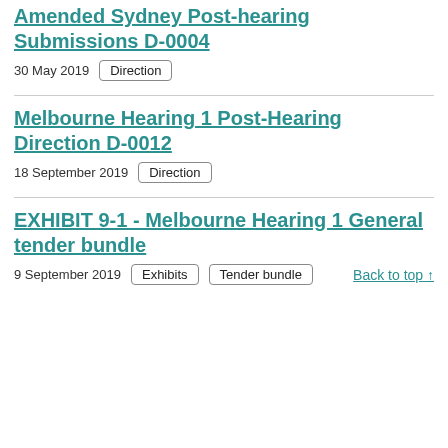Amended Sydney Post-hearing Submissions D-0004
30 May 2019   Direction
Melbourne Hearing 1 Post-Hearing Direction D-0012
18 September 2019   Direction
EXHIBIT 9-1 - Melbourne Hearing 1 General tender bundle
9 September 2019   Exhibits   Tender bundle   Back to top ↑